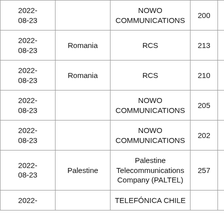| Date | Country | Operator | Col4 | Col5 |
| --- | --- | --- | --- | --- |
| 2022-08-23 |  | NOWO COMMUNICATIONS | 200 | 19… |
| 2022-08-23 | Romania | RCS | 213 | 25… |
| 2022-08-23 | Romania | RCS | 210 | 1… |
| 2022-08-23 |  | NOWO COMMUNICATIONS | 205 | 75… |
| 2022-08-23 |  | NOWO COMMUNICATIONS | 202 | 1… |
| 2022-08-23 | Palestine | Palestine Telecommunications Company (PALTEL) | 257 | 39… |
| 2022-… |  | TELEFÓNICA CHILE |  |  |